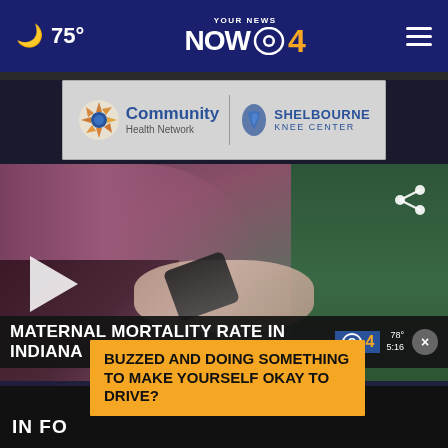75° YOUR NEWS NOW CBS 4
[Figure (advertisement): Community Health Network and Shelbourne Knee Center advertisement banner]
[Figure (photo): Video thumbnail showing a pregnant woman receiving medical examination, with play button overlay and share icon]
MATERNAL MORTALITY RATE IN INDIANA
CBS 4 78° 5:16
RIGHT NOW Westfield 79° Zionsville
BUZZED AND DOING SOMETHING TO MAKE YOURSELF OKAY TO DRIVE?
IN FO